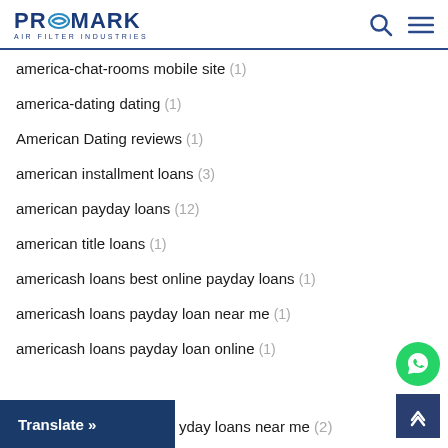PROMARK AIR FILTER INDUSTRIES
america-chat-rooms mobile site (1)
america-dating dating (1)
American Dating reviews (1)
american installment loans (3)
american payday loans (12)
american title loans (1)
americash loans best online payday loans (1)
americash loans payday loan near me (1)
americash loans payday loan online (1)
a...yday loans near me (2)